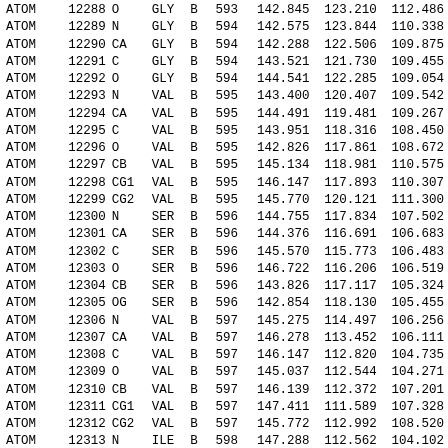| Type | Num | Atom | Res | Ch | Seq | X | Y | Z |
| --- | --- | --- | --- | --- | --- | --- | --- | --- |
| ATOM | 12288 | O | GLY | B | 593 | 142.845 | 123.210 | 112.486 |
| ATOM | 12289 | N | GLY | B | 594 | 142.575 | 123.844 | 110.338 |
| ATOM | 12290 | CA | GLY | B | 594 | 142.288 | 122.506 | 109.875 |
| ATOM | 12291 | C | GLY | B | 594 | 143.521 | 121.730 | 109.455 |
| ATOM | 12292 | O | GLY | B | 594 | 144.541 | 122.285 | 109.054 |
| ATOM | 12293 | N | VAL | B | 595 | 143.400 | 120.407 | 109.542 |
| ATOM | 12294 | CA | VAL | B | 595 | 144.491 | 119.481 | 109.267 |
| ATOM | 12295 | C | VAL | B | 595 | 143.951 | 118.316 | 108.450 |
| ATOM | 12296 | O | VAL | B | 595 | 142.826 | 117.861 | 108.672 |
| ATOM | 12297 | CB | VAL | B | 595 | 145.134 | 118.981 | 110.575 |
| ATOM | 12298 | CG1 | VAL | B | 595 | 146.147 | 117.893 | 110.307 |
| ATOM | 12299 | CG2 | VAL | B | 595 | 145.770 | 120.121 | 111.300 |
| ATOM | 12300 | N | SER | B | 596 | 144.755 | 117.834 | 107.502 |
| ATOM | 12301 | CA | SER | B | 596 | 144.376 | 116.691 | 106.683 |
| ATOM | 12302 | C | SER | B | 596 | 145.570 | 115.773 | 106.483 |
| ATOM | 12303 | O | SER | B | 596 | 146.722 | 116.206 | 106.519 |
| ATOM | 12304 | CB | SER | B | 596 | 143.826 | 117.117 | 105.324 |
| ATOM | 12305 | OG | SER | B | 596 | 142.854 | 118.130 | 105.455 |
| ATOM | 12306 | N | VAL | B | 597 | 145.275 | 114.497 | 106.256 |
| ATOM | 12307 | CA | VAL | B | 597 | 146.278 | 113.452 | 106.111 |
| ATOM | 12308 | C | VAL | B | 597 | 146.147 | 112.820 | 104.735 |
| ATOM | 12309 | O | VAL | B | 597 | 145.037 | 112.544 | 104.271 |
| ATOM | 12310 | CB | VAL | B | 597 | 146.139 | 112.372 | 107.201 |
| ATOM | 12311 | CG1 | VAL | B | 597 | 147.411 | 111.589 | 107.328 |
| ATOM | 12312 | CG2 | VAL | B | 597 | 145.772 | 112.992 | 108.520 |
| ATOM | 12313 | N | ILE | B | 598 | 147.288 | 112.562 | 104.102 |
| ATOM | 12314 | CA | ILE | B | 598 | 147.370 | 111.962 | 102.778 |
| ATOM | 12315 | C | ILE | B | 598 | 148.079 | 110.629 | 102.921 |
| ATOM | 12316 | O | ILE | B | 598 | 149.213 | 110.577 | 103.419 |
| ATOM | 12317 | CB | ILE | B | 598 | 148.116 | 112.868 | 101.788 |